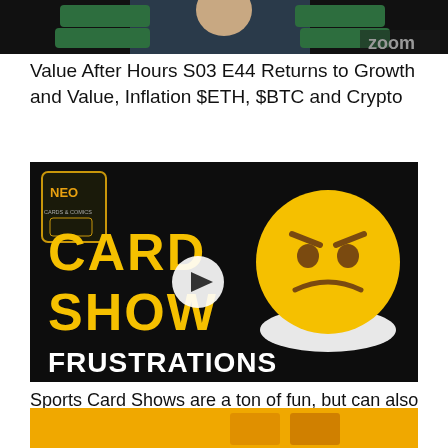[Figure (screenshot): Top portion of a video thumbnail showing a person in front of a Zoom background with directional signs]
Value After Hours S03 E44 Returns to Growth and Value, Inflation $ETH, $BTC and Crypto
[Figure (screenshot): Video thumbnail with black background showing NEO Cards & Comics logo, large yellow text 'CARD SHOW' and white text 'FRUSTRATIONS', with an angry emoji face on the right and a play button in the center]
Sports Card Shows are a ton of fun, but can also be quite frustrating.
[Figure (screenshot): Bottom partial thumbnail with yellow/gold background, partially visible]